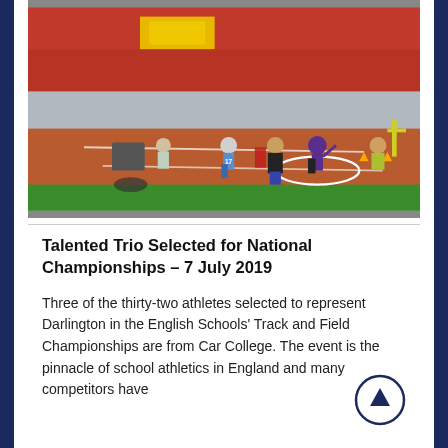[Figure (photo): Athletics track and field event photo showing athletes at a shot put area in a stadium with red and yellow seats in the background. Athletes wearing purple/blue and other colored uniforms are visible on the track.]
Talented Trio Selected for National Championships – 7 July 2019
Three of the thirty-two athletes selected to represent Darlington in the English Schools' Track and Field Championships are from Car... College. The event is the pinnacle of school athletics in England and many competitors have